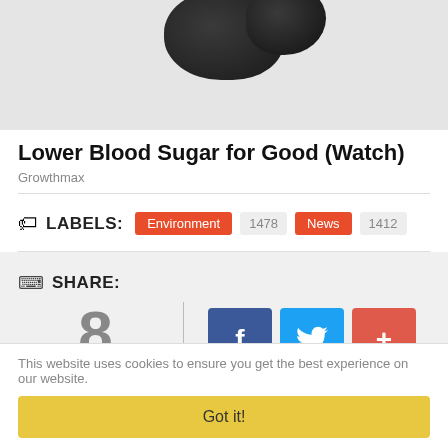[Figure (photo): Dark objects (possibly seeds or berries) on a light background, partially visible at top of page]
Lower Blood Sugar for Good (Watch)
Growthmax
LABELS: Environment 1478 News 1412
SHARE: 8 SHARES
Like 6.7K
This website uses cookies to ensure you get the best experience on our website.
Got it!